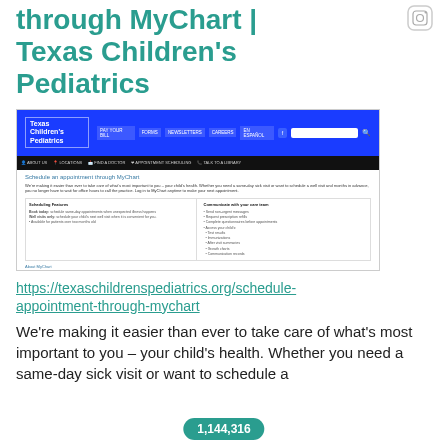through MyChart | Texas Children's Pediatrics
[Figure (screenshot): Screenshot of Texas Children's Pediatrics website showing 'Schedule an appointment through MyChart' page with blue header navigation, search bar, and two-column table of scheduling features and communication features.]
https://texaschildrenspediatrics.org/schedule-appointment-through-mychart
We're making it easier than ever to take care of what's most important to you – your child's health. Whether you need a same-day sick visit or want to schedule a
1,144,316